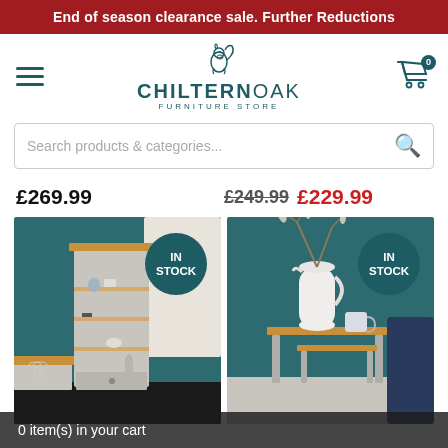End of season clearance sale. Further Reductions
[Figure (logo): Chiltern Oak Furniture Store logo with squirrel icon]
Search products & categories...
£269.99
£249.99 £229.99
[Figure (photo): Grey painted bookcase/shelving unit with oak top, IN STOCK badge]
[Figure (photo): Nest of tables in grey/oak finish with white jug, IN STOCK badge]
0 item(s) in your cart